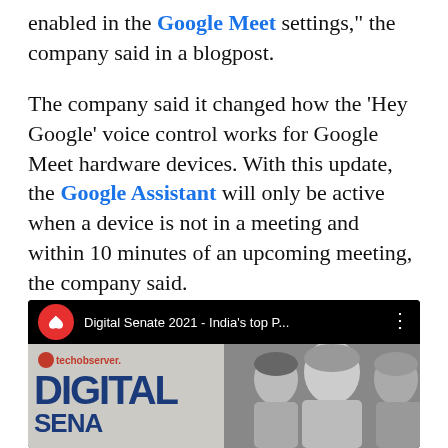enabled in the Google Meet settings,” the company said in a blogpost.
The company said it changed how the ‘Hey Google’ voice control works for Google Meet hardware devices. With this update, the Google Assistant will only be active when a device is not in a meeting and within 10 minutes of an upcoming meeting, the company said.
[Figure (screenshot): YouTube video thumbnail showing 'Digital Senate 2021 - India's top P...' with a red channel icon featuring a white bird/dove logo, video title in white text on black bar, and thumbnail showing 'DIGITAL' text in blue on left side with grayscale faces of Indian politicians on the right side.]